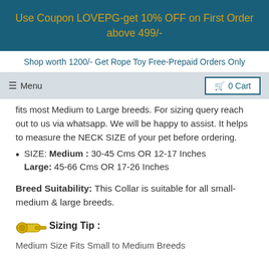Use Coupon LOVEPG-get 10% OFF on First Order above 499/-
Shop worth 1200/- Get Rope Toy Free-Prepaid Orders Only
fits most Medium to Large breeds. For sizing query reach out to us via whatsapp. We will be happy to assist. It helps to measure the NECK SIZE of your pet before ordering.
SIZE: Medium : 30-45 Cms OR 12-17 Inches Large: 45-66 Cms OR 17-26 Inches
Breed Suitability: This Collar is suitable for all small-medium & large breeds.
Sizing Tip :
Medium Size Fits Small to Medium Breeds